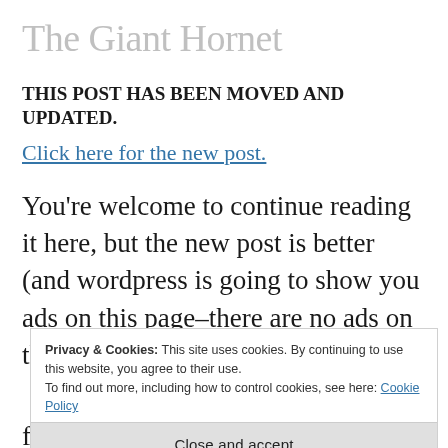The Giant Hornet
THIS POST HAS BEEN MOVED AND UPDATED.
Click here for the new post.
You're welcome to continue reading it here, but the new post is better (and wordpress is going to show you ads on this page–there are no ads on the new post).
Privacy & Cookies: This site uses cookies. By continuing to use this website, you agree to their use.
To find out more, including how to control cookies, see here: Cookie Policy
Close and accept
freak out about this. Here are some things we